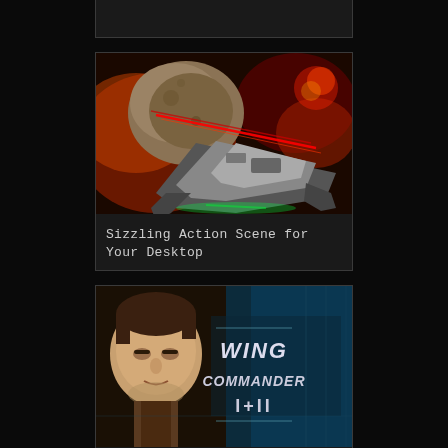Outfits for All Seasons
[Figure (photo): Space battle scene showing a spacecraft with asteroid and red laser beams in background]
Sizzling Action Scene for Your Desktop
[Figure (photo): Wing Commander I+II game cover showing protagonist face and Wing Commander I+II title text]
The GOG Sale Discounts Wing Commander 75%